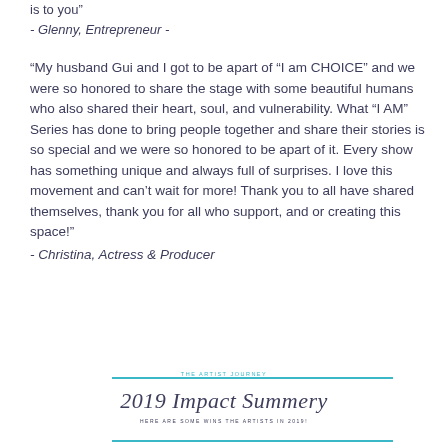is to you"
- Glenny, Entrepreneur -
“My husband Gui and I got to be apart of “I am CHOICE” and we were so honored to share the stage with some beautiful humans who also shared their heart, soul, and vulnerability. What “I AM” Series has done to bring people together and share their stories is so special and we were so honored to be apart of it. Every show has something unique and always full of surprises. I love this movement and can’t wait for more! Thank you to all have shared themselves, thank you for all who support, and or creating this space!”
- Christina, Actress & Producer
2019 Impact Summery
HERE ARE SOME WINS THE ARTISTS IN 2019!